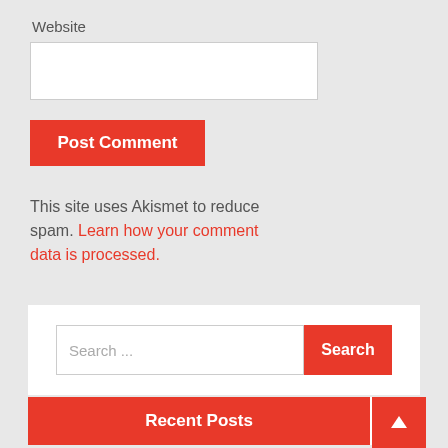Website
[Figure (screenshot): Website text input field (empty white box)]
[Figure (screenshot): Post Comment button (red background, white text)]
This site uses Akismet to reduce spam. Learn how your comment data is processed.
[Figure (screenshot): Search widget with search input field placeholder 'Search ...' and red Search button]
Recent Posts